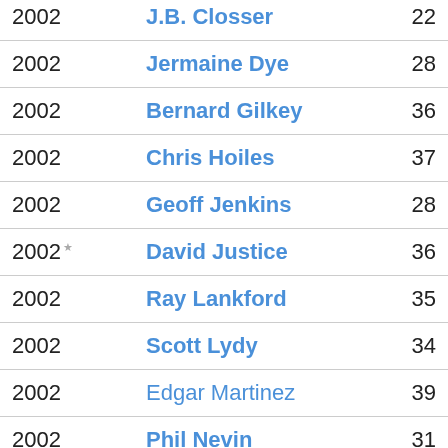| Year | Player | Number |
| --- | --- | --- |
| 2002 | J.B. Closser | 22 |
| 2002 | Jermaine Dye | 28 |
| 2002 | Bernard Gilkey | 36 |
| 2002 | Chris Hoiles | 37 |
| 2002 | Geoff Jenkins | 28 |
| 2002* | David Justice | 36 |
| 2002 | Ray Lankford | 35 |
| 2002 | Scott Lydy | 34 |
| 2002 | Edgar Martinez | 39 |
| 2002 | Phil Nevin | 31 |
| 2002 | Dean Palmer | 34 |
| 2002* | Mark Whiten | 36 |